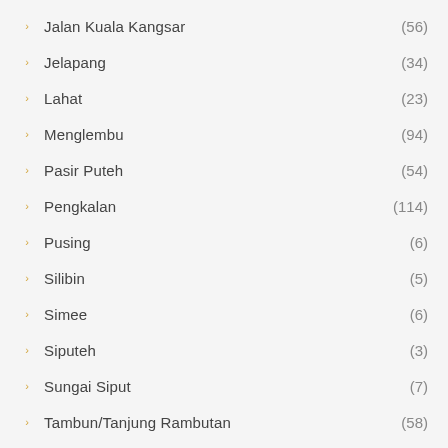Jalan Kuala Kangsar (56)
Jelapang (34)
Lahat (23)
Menglembu (94)
Pasir Puteh (54)
Pengkalan (114)
Pusing (6)
Silibin (5)
Simee (6)
Siputeh (3)
Sungai Siput (7)
Tambun/Tanjung Rambutan (58)
Tasek (7)
Town Area (109)